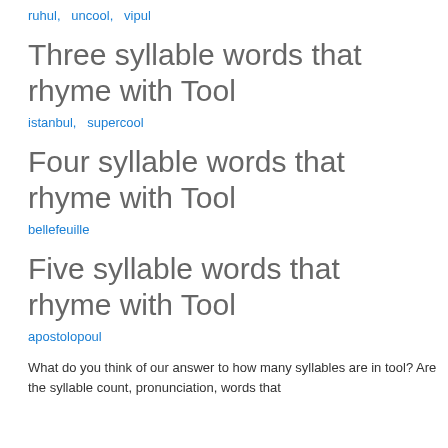ruhul,   uncool,   vipul
Three syllable words that rhyme with Tool
istanbul,   supercool
Four syllable words that rhyme with Tool
bellefeuille
Five syllable words that rhyme with Tool
apostolopoul
What do you think of our answer to how many syllables are in tool? Are the syllable count, pronunciation, words that